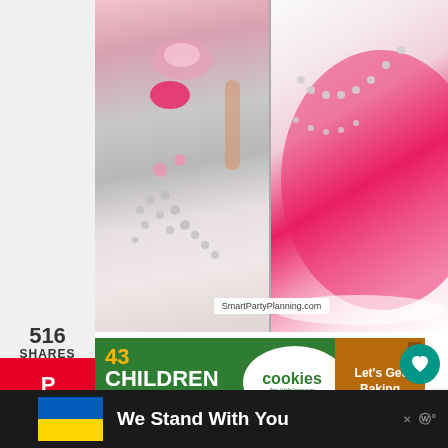[Figure (photo): Two close-up photos of a Barbie doll cake side by side, showing pink fondant and silver pearl decorations. Left image shows the doll body with silver pearl bead strands. Right image shows pink frosting texture with curved bead lines. Watermark reads SmartPartyPlanning.com]
516
SHARES
[Figure (infographic): Pinterest share button (red background with P icon)]
[Figure (infographic): Facebook share button (blue background with f icon)]
[Figure (infographic): Twitter share button (light blue background with bird icon)]
[Figure (infographic): Advertisement banner: green background with text '43 CHILDREN A Day Are Diagnosed With Cancer in the U.S.' with cookies for kids cancer logo and 'Let's Get Baking' call to action on orange/brown background]
[Figure (infographic): Teal heart/like button with count 519 and share button below]
[Figure (infographic): Bottom banner: dark background with Ukraine flag colors (blue and yellow), text 'We Stand With You' and brand mark]